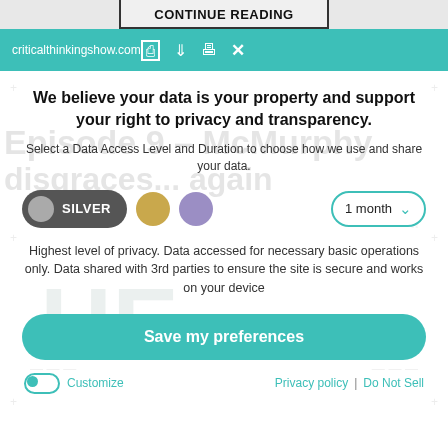CONTINUE READING
criticalthinkingshow.com
We believe your data is your property and support your right to privacy and transparency.
Select a Data Access Level and Duration to choose how we use and share your data.
[Figure (infographic): Privacy level selector with Silver toggle button (dark gray pill with silver circle), gold circle, purple circle, and 1 month dropdown selector]
Highest level of privacy. Data accessed for necessary basic operations only. Data shared with 3rd parties to ensure the site is secure and works on your device
Save my preferences
Customize
Privacy policy | Do Not Sell